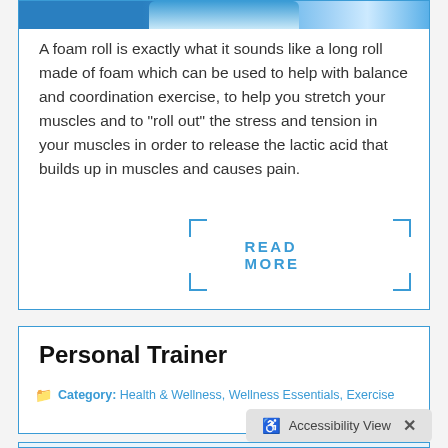[Figure (photo): Partial image of foam roll exercise equipment on a blue surface, cropped at top]
A foam roll is exactly what it sounds like a long roll made of foam which can be used to help with balance and coordination exercise, to help you stretch your muscles and to "roll out" the stress and tension in your muscles in order to release the lactic acid that builds up in muscles and causes pain.
READ MORE
Personal Trainer
Category: Health & Wellness, Wellness Essentials, Exercise
[Figure (photo): Partial image visible at bottom of page, cropped]
Accessibility View ×